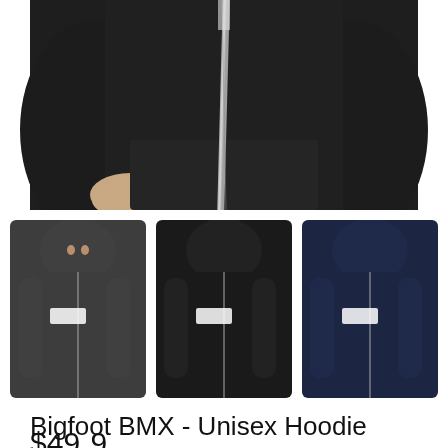[Figure (photo): Close-up view of a black zip-up hoodie with a silver zipper, shown from chest to waist on a model. The zipper runs diagonally across the center.]
[Figure (photo): Three thumbnails of women modeling zip-up hoodie sweaters with a BMX logo on the chest. Left hoodie is dark gray, center hoodie is black, right hoodie is navy blue.]
Bigfoot BMX - Unisex Hoodie Sweater
$49.99